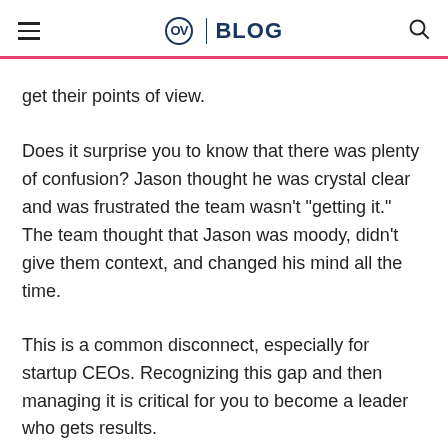OV | BLOG
get their points of view.
Does it surprise you to know that there was plenty of confusion? Jason thought he was crystal clear and was frustrated the team wasn’t “getting it.” The team thought that Jason was moody, didn’t give them context, and changed his mind all the time.
This is a common disconnect, especially for startup CEOs. Recognizing this gap and then managing it is critical for you to become a leader who gets results.